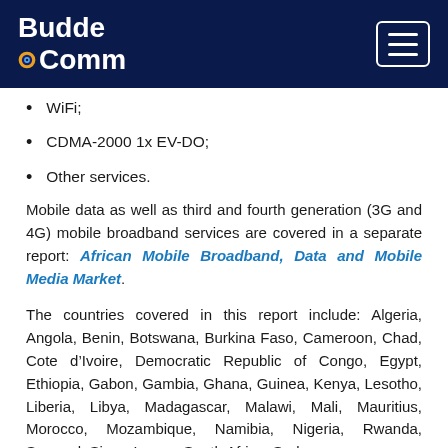BuddeComm
WiFi;
CDMA-2000 1x EV-DO;
Other services.
Mobile data as well as third and fourth generation (3G and 4G) mobile broadband services are covered in a separate report: African Mobile Broadband, Data and Mobile Media Market.
The countries covered in this report include: Algeria, Angola, Benin, Botswana, Burkina Faso, Cameroon, Chad, Cote d’Ivoire, Democratic Republic of Congo, Egypt, Ethiopia, Gabon, Gambia, Ghana, Guinea, Kenya, Lesotho, Liberia, Libya, Madagascar, Malawi, Mali, Mauritius, Morocco, Mozambique, Namibia, Nigeria, Rwanda, Senegal, Sierra Leone, South Africa, Sudan,